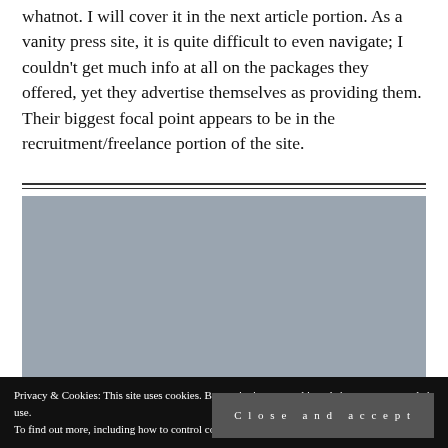whatnot. I will cover it in the next article portion. As a vanity press site, it is quite difficult to even navigate; I couldn't get much info at all on the packages they offered, yet they advertise themselves as providing them. Their biggest focal point appears to be in the recruitment/freelance portion of the site.
Should I use this service?
Privacy & Cookies: This site uses cookies. By continuing to use this website, you agree to their use. To find out more, including how to control cookies, see here: Cookie Policy
Close and accept
publishing.